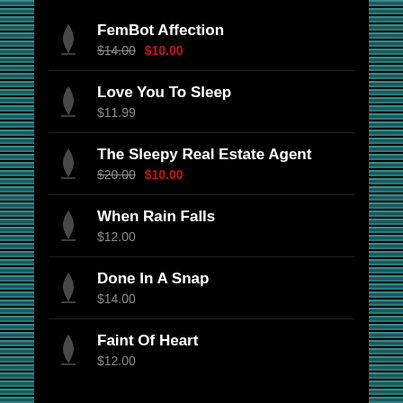FemBot Affection
$14.00 $10.00
Love You To Sleep
$11.99
The Sleepy Real Estate Agent
$20.00 $10.00
When Rain Falls
$12.00
Done In A Snap
$14.00
Faint Of Heart
$12.00